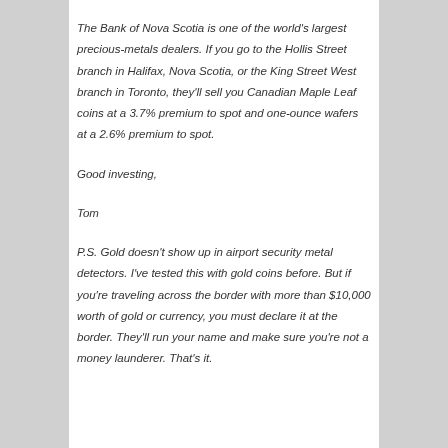The Bank of Nova Scotia is one of the world's largest precious-metals dealers. If you go to the Hollis Street branch in Halifax, Nova Scotia, or the King Street West branch in Toronto, they'll sell you Canadian Maple Leaf coins at a 3.7% premium to spot and one-ounce wafers at a 2.6% premium to spot.
Good investing,
Tom
P.S. Gold doesn't show up in airport security metal detectors. I've tested this with gold coins before. But if you're traveling across the border with more than $10,000 worth of gold or currency, you must declare it at the border. They'll run your name and make sure you're not a money launderer. That's it.